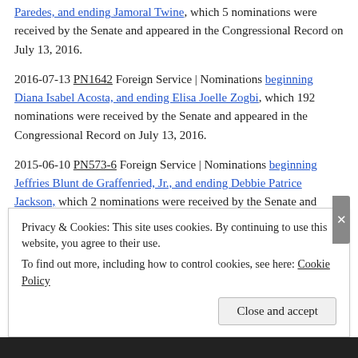Paredes, and ending Jamoral Twine, which 5 nominations were received by the Senate and appeared in the Congressional Record on July 13, 2016.
2016-07-13 PN1642 Foreign Service | Nominations beginning Diana Isabel Acosta, and ending Elisa Joelle Zogbi, which 192 nominations were received by the Senate and appeared in the Congressional Record on July 13, 2016.
2015-06-10 PN573-6 Foreign Service | Nominations beginning Jeffries Blunt de Graffenried, Jr., and ending Debbie Patrice Jackson, which 2 nominations were received by the Senate and appeared in the Congressional Record on June 10, 2015.
2015-02-26 PN230-3 Foreign Service | Nomination for David Elliott
Privacy & Cookies: This site uses cookies. By continuing to use this website, you agree to their use. To find out more, including how to control cookies, see here: Cookie Policy